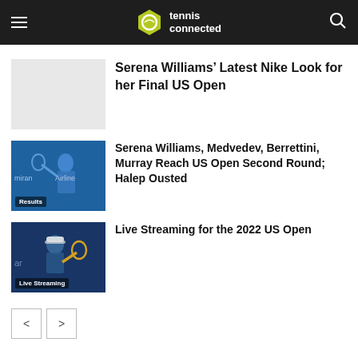tennis connected
Serena Williams’ Latest Nike Look for her Final US Open
[Figure (photo): Tennis player in blue shirt on blue court background, with 'Results' label overlay]
Serena Williams, Medvedev, Berrettini, Murray Reach US Open Second Round; Halep Ousted
[Figure (photo): Tennis player with white cap holding racket on blue background, with 'Live Streaming' label overlay]
Live Streaming for the 2022 US Open
< >